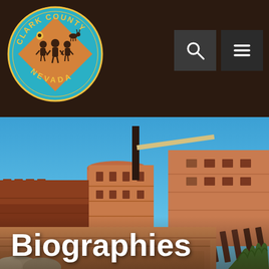Clark County Nevada – Navigation header with logo, search and menu buttons
[Figure (photo): Clark County Government Center building exterior – a southwestern-style terracotta brick building with geometric forms, decorative spires/poles, and blue sky backdrop. The word 'Biographies' appears in large white bold text overlaid at the bottom left of the photo.]
Biographies